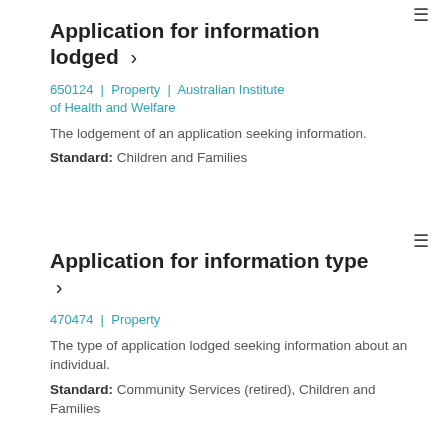Application for information lodged ›
650124 | Property | Australian Institute of Health and Welfare
The lodgement of an application seeking information.
Standard: Children and Families
Application for information type ›
470474 | Property
The type of application lodged seeking information about an individual.
Standard: Community Services (retired), Children and Families